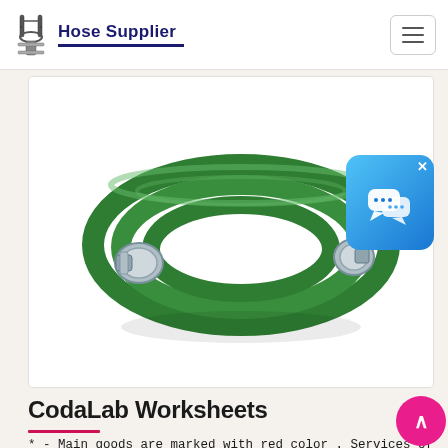Hose Supplier
[Figure (photo): Coiled green industrial hose with metal fittings/couplings on both ends, shown on white background.]
CodaLab Worksheets
* - Main goods are marked with red color . Services of language translation the An announcement must be